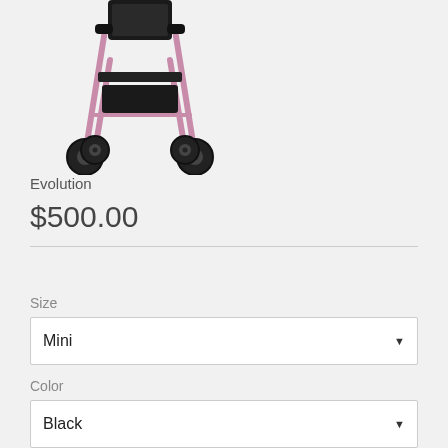[Figure (photo): A rollator walker with pink/mauve frame, black seat, black wheels, and black bag accessory, partially cropped at top of image.]
Evolution
$500.00
Size
Mini
Color
Black